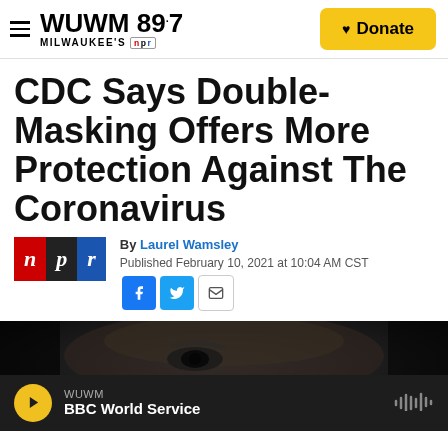WUWM 89.7 Milwaukee's NPR — Donate
CDC Says Double-Masking Offers More Protection Against The Coronavirus
By Laurel Wamsley
Published February 10, 2021 at 10:04 AM CST
[Figure (photo): Dark close-up photo of a person wearing a mask, showing their eye area]
WUWM
BBC World Service